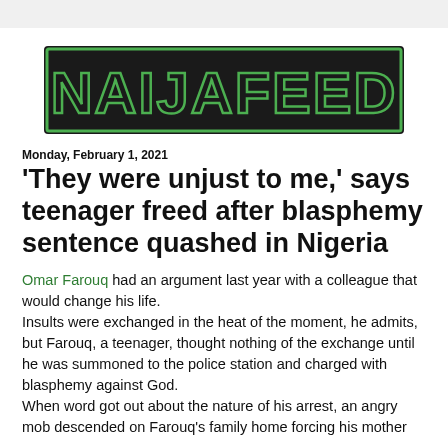[Figure (logo): NAIJAFEED logo — dark background with green outlined block letters spelling NAIJAFEED]
Monday, February 1, 2021
'They were unjust to me,' says teenager freed after blasphemy sentence quashed in Nigeria
Omar Farouq had an argument last year with a colleague that would change his life.
Insults were exchanged in the heat of the moment, he admits, but Farouq, a teenager, thought nothing of the exchange until he was summoned to the police station and charged with blasphemy against God.
When word got out about the nature of his arrest, an angry mob descended on Farouq's family home forcing his mother